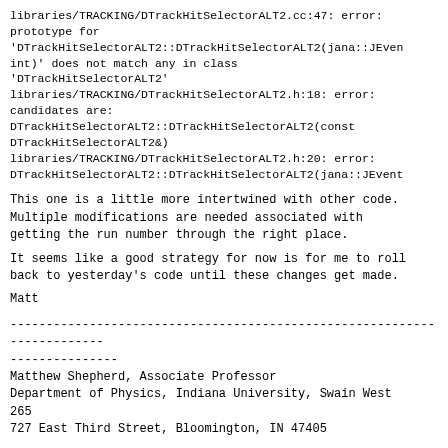libraries/TRACKING/DTrackHitSelectorALT2.cc:47: error: prototype for
'DTrackHitSelectorALT2::DTrackHitSelectorALT2(jana::JEven
int)' does not match any in class
'DTrackHitSelectorALT2'
libraries/TRACKING/DTrackHitSelectorALT2.h:18: error:
candidates are:
DTrackHitSelectorALT2::DTrackHitSelectorALT2(const
DTrackHitSelectorALT2&)
libraries/TRACKING/DTrackHitSelectorALT2.h:20: error:
DTrackHitSelectorALT2::DTrackHitSelectorALT2(jana::JEvent
This one is a little more intertwined with other code.
Multiple modifications are needed associated with
getting the run number through the right place.
It seems like a good strategy for now is for me to roll
back to yesterday's code until these changes get made.
Matt
------------------------------------------------------------------------
---------------
Matthew Shepherd, Associate Professor
Department of Physics, Indiana University, Swain West
265
727 East Third Street, Bloomington, IN 47405

Office Phone:  +1 812 856 5808